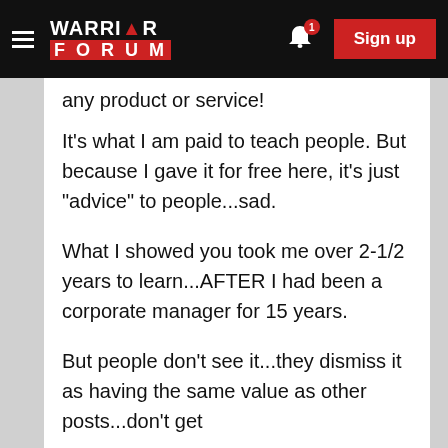Warrior Forum — Sign up
any product or service!
It's what I am paid to teach people. But because I gave it for free here, it's just "advice" to people...sad.
What I showed you took me over 2-1/2 years to learn...AFTER I had been a corporate manager for 15 years.
But people don't see it...they dismiss it as having the same value as other posts...don't get